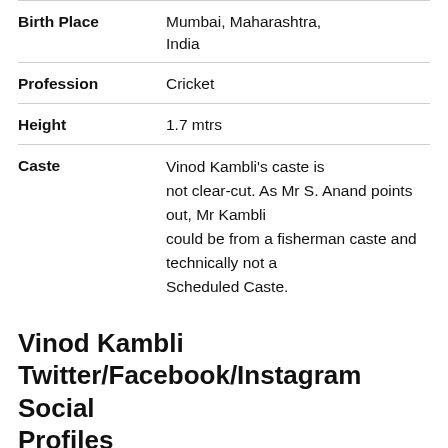| Birth Place | Mumbai, Maharashtra, India |
| Profession | Cricket |
| Height | 1.7 mtrs |
| Caste | Vinod Kambli's caste is not clear-cut. As Mr S. Anand points out, Mr Kambli could be from a fisherman caste and technically not a Scheduled Caste. |
Vinod Kambli Twitter/Facebook/Instagram Social Profiles